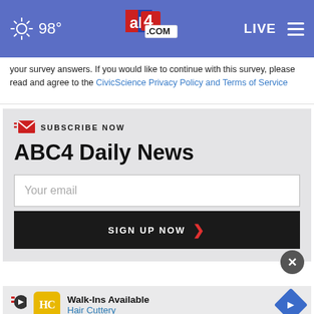98° LIVE — abc4.com header navigation bar
your survey answers. If you would like to continue with this survey, please read and agree to the CivicScience Privacy Policy and Terms of Service
[Figure (screenshot): ABC4 Daily News email subscription widget with email input and Sign Up Now button on gray background]
[Figure (infographic): Hair Cuttery advertisement: Walk-Ins Available, Hair Cuttery, with HC logo and navigation arrow icon]